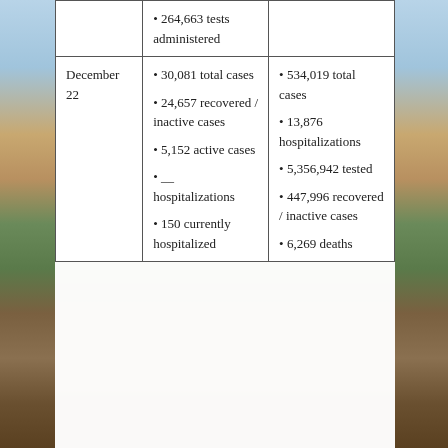| Date | Local | State |
| --- | --- | --- |
|  | • 264,663 tests administered |  |
| December 22 | • 30,081 total cases
• 24,657 recovered / inactive cases
• 5,152 active cases
• __ hospitalizations
• 150 currently hospitalized | • 534,019 total cases
• 13,876 hospitalizations
• 5,356,942 tested
• 447,996 recovered / inactive cases
• 6,269 deaths |